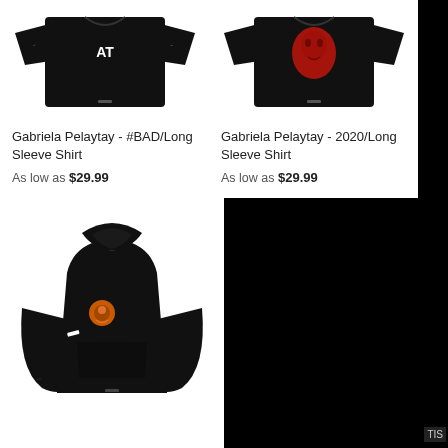[Figure (photo): Black long sleeve shirt with white text graphic on chest, flat lay on white background]
Gabriela Pelaytay - #BAD/Long Sleeve Shirt
As low as $29.99
[Figure (photo): Black long sleeve shirt with red face/skull graphic on chest, flat lay on white background]
Gabriela Pelaytay - 2020/Long Sleeve Shirt
As low as $29.99
[Figure (photo): Black hoodie with orange circular logo patch on chest and white stripe on sleeve, flat lay on white background]